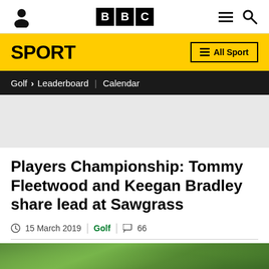BBC Sport - Navigation header
SPORT | All Sport
Golf > Leaderboard | Calendar
Players Championship: Tommy Fleetwood and Keegan Bradley share lead at Sawgrass
15 March 2019 | Golf | 66
[Figure (photo): Green grass background image at the bottom of the page]